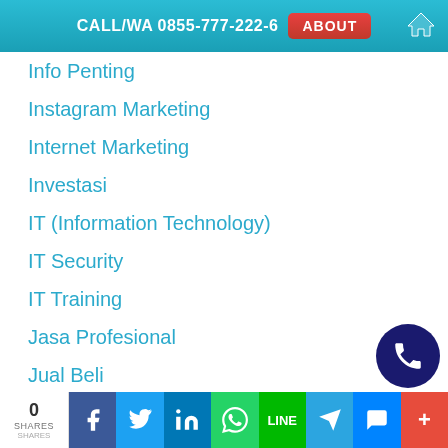CALL/WA 0855-777-222-6  ABOUT
Info Penting
Instagram Marketing
Internet Marketing
Investasi
IT (Information Technology)
IT Security
IT Training
Jasa Profesional
Jual Beli
Kecantikan
Kesehatan
Kesenian
Kisah Inspiratif
0 SHARES  [Facebook] [Twitter] [LinkedIn] [WhatsApp] [Line] [Telegram] [Messenger] [More]